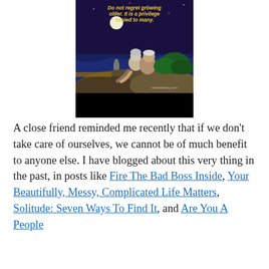[Figure (illustration): Illustration of an elderly couple sitting together on rocks by a moonlit sea/lake at night. Yellow text at top reads: 'Do not regret growing older. It is a privilege denied to many.' Watermark: rawforbeauty.com. Bottom portion is black.]
A close friend reminded me recently that if we don't take care of ourselves, we cannot be of much benefit to anyone else. I have blogged about this very thing in the past, in posts like Fire The Bad Boss Inside, Your Beautifully, Messy, Complicated Life Matters, Solitude: Seven Ways To Find It, and Are You A People